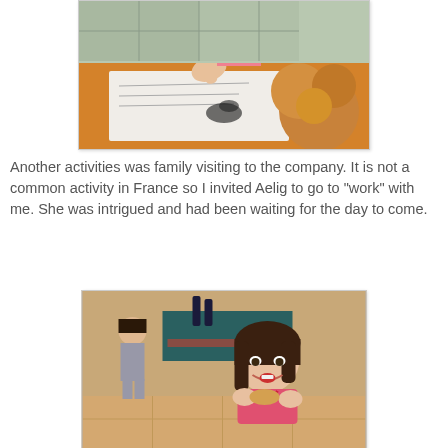[Figure (photo): A young girl in a pink shirt sitting at an orange table, drawing or writing on white paper, with a fluffy stuffed animal on the right side of the table. Indoor setting.]
Another activities was family visiting to the company. It is not a common activity in France so I invited Aelig to go to "work" with me. She was intrigued and had been waiting for the day to come.
[Figure (photo): A young girl in a pink top eating something at what appears to be a party or gathering. Another child and bottles are visible in the background. Tiled floor visible.]